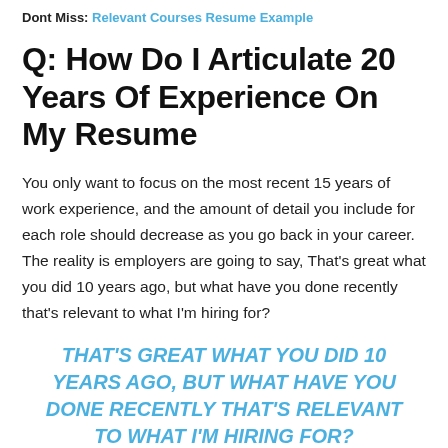Dont Miss: Relevant Courses Resume Example
Q: How Do I Articulate 20 Years Of Experience On My Resume
You only want to focus on the most recent 15 years of work experience, and the amount of detail you include for each role should decrease as you go back in your career. The reality is employers are going to say, That’s great what you did 10 years ago, but what have you done recently that’s relevant to what I’m hiring for?
THAT’S GREAT WHAT YOU DID 10 YEARS AGO, BUT WHAT HAVE YOU DONE RECENTLY THAT’S RELEVANT TO WHAT I’M HIRING FOR?